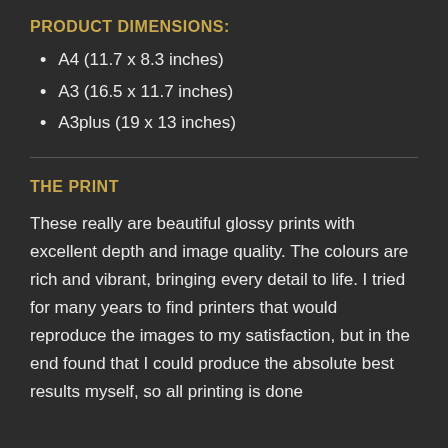PRODUCT DIMENSIONS:
A4 (11.7 x 8.3 inches)
A3 (16.5 x 11.7 inches)
A3plus (19 x 13 inches)
THE PRINT
These really are beautiful glossy prints with excellent depth and image quality. The colours are rich and vibrant, bringing every detail to life. I tried for many years to find printers that would reproduce the images to my satisfaction, but in the end found that I could produce the absolute best results myself, so all printing is done